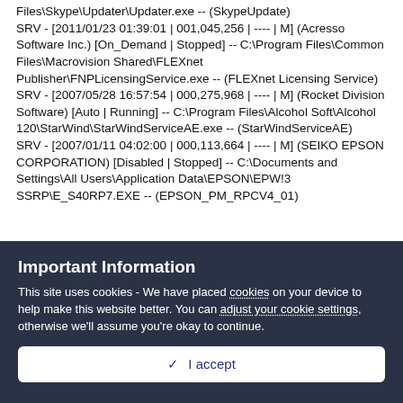Files\Skype\Updater\Updater.exe -- (SkypeUpdate)
SRV - [2011/01/23 01:39:01 | 001,045,256 | ---- | M] (Acresso Software Inc.) [On_Demand | Stopped] -- C:\Program Files\Common Files\Macrovision Shared\FLEXnet Publisher\FNPLicensingService.exe -- (FLEXnet Licensing Service)
SRV - [2007/05/28 16:57:54 | 000,275,968 | ---- | M] (Rocket Division Software) [Auto | Running] -- C:\Program Files\Alcohol Soft\Alcohol 120\StarWind\StarWindServiceAE.exe -- (StarWindServiceAE)
SRV - [2007/01/11 04:02:00 | 000,113,664 | ---- | M] (SEIKO EPSON CORPORATION) [Disabled | Stopped] -- C:\Documents and Settings\All Users\Application Data\EPSON\EPW!3 SSRP\E_S40RP7.EXE -- (EPSON_PM_RPCV4_01)
Important Information
This site uses cookies - We have placed cookies on your device to help make this website better. You can adjust your cookie settings, otherwise we'll assume you're okay to continue.
I accept